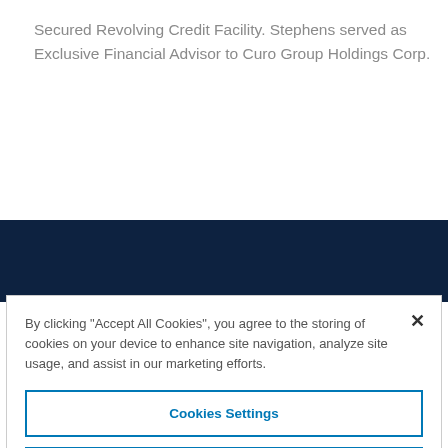Secured Revolving Credit Facility. Stephens served as Exclusive Financial Advisor to Curo Group Holdings Corp.
By clicking "Accept All Cookies", you agree to the storing of cookies on your device to enhance site navigation, analyze site usage, and assist in our marketing efforts.
Cookies Settings
Reject All